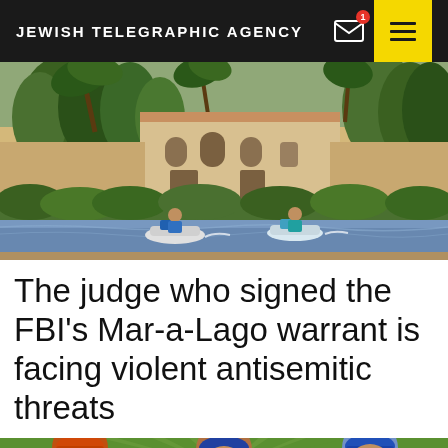JEWISH TELEGRAPHIC AGENCY
[Figure (photo): Aerial/ground view of Mar-a-Lago estate waterway with two people on jet skis, palm trees, and Mediterranean-style buildings in background]
The judge who signed the FBI's Mar-a-Lago warrant is facing violent antisemitic threats
[Figure (photo): Three baseball players wearing different team caps (Orioles, Detroit, Dodgers) against a green starburst background]